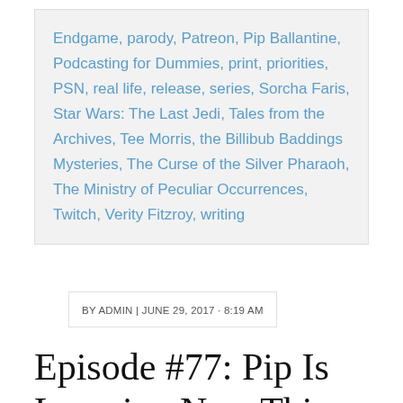Endgame, parody, Patreon, Pip Ballantine, Podcasting for Dummies, print, priorities, PSN, real life, release, series, Sorcha Faris, Star Wars: The Last Jedi, Tales from the Archives, Tee Morris, the Billibub Baddings Mysteries, The Curse of the Silver Pharaoh, The Ministry of Peculiar Occurrences, Twitch, Verity Fitzroy, writing
BY ADMIN | JUNE 29, 2017 · 8:19 AM
Episode #77: Pip Is Learning New Things
[Figure (photo): Partial image with text overlay reading 'The Shared' in white decorative font over a green leafy/forest background]